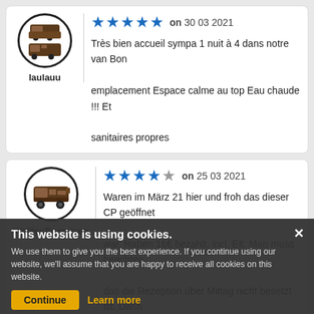[Figure (illustration): Avatar icon showing two campervans/RVs stacked, inside a circle with thick border]
laulauu
★★★★★ on 30 03 2021
Très bien accueil sympa 1 nuit à 4 dans notre van Bon emplacement Espace calme au top Eau chaude !!! Et sanitaires propres
[Figure (illustration): Avatar icon showing a motorhome/RV, inside a circle with thick border]
WelliesBusreisen
★★★★☆ on 25 03 2021
Waren im März 21 hier und froh das dieser CP geöffnet war. Haben 16€ bezahlt, incl. Elt. Man muss beachten, das die Rezeption über Mittag nicht besetzt ist. Dann muss man auf dem P davor warten. Wir kommen wieder.
This website is using cookies. We use them to give you the best experience. If you continue using our website, we'll assume that you are happy to receive all cookies on this website. Continue Learn more